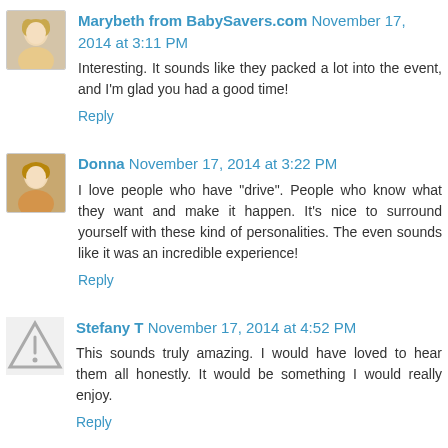[Figure (photo): Avatar photo of Marybeth, a blonde woman]
Marybeth from BabySavers.com November 17, 2014 at 3:11 PM
Interesting. It sounds like they packed a lot into the event, and I'm glad you had a good time!
Reply
[Figure (photo): Avatar photo of Donna, a blonde woman]
Donna November 17, 2014 at 3:22 PM
I love people who have "drive". People who know what they want and make it happen. It's nice to surround yourself with these kind of personalities. The even sounds like it was an incredible experience!
Reply
[Figure (illustration): Generic avatar placeholder with warning triangle icon]
Stefany T November 17, 2014 at 4:52 PM
This sounds truly amazing. I would have loved to hear them all honestly. It would be something I would really enjoy.
Reply